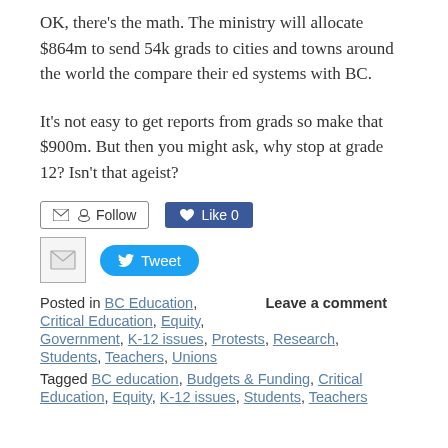OK, there's the math. The ministry will allocate $864m to send 54k grads to cities and towns around the world the compare their ed systems with BC.
It's not easy to get reports from grads so make that $900m. But then you might ask, why stop at grade 12? Isn't that ageist?
[Figure (other): Follow button (envelope and RSS icon), Like button (Facebook blue, count 0), mail icon, Tweet button (Twitter blue)]
Posted in BC Education, Leave a comment
Critical Education, Equity,
Government, K-12 issues, Protests, Research,
Students, Teachers, Unions
Tagged BC education, Budgets & Funding, Critical Education, Equity, K-12 issues, Students, Teachers